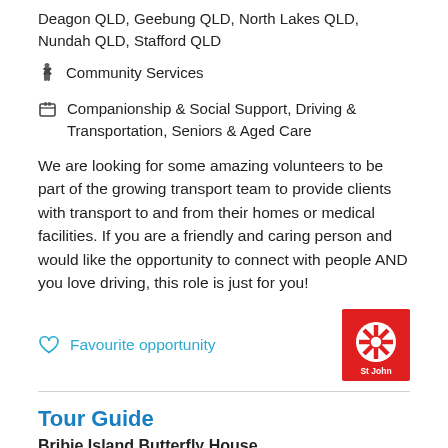Deagon QLD, Geebung QLD, North Lakes QLD, Nundah QLD, Stafford QLD
Community Services
Companionship & Social Support, Driving & Transportation, Seniors & Aged Care
We are looking for some amazing volunteers to be part of the growing transport team to provide clients with transport to and from their homes or medical facilities. If you are a friendly and caring person and would like the opportunity to connect with people AND you love driving, this role is just for you!
Favourite opportunity
[Figure (logo): St John red logo with white snowflake/cross emblem]
Tour Guide
Bribie Island Butterfly House
Bongaree Queensland